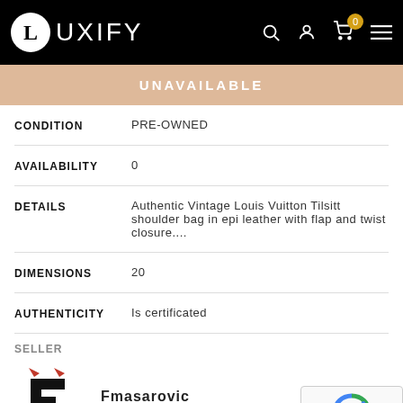LUXIFY
UNAVAILABLE
| Field | Value |
| --- | --- |
| CONDITION | PRE-OWNED |
| AVAILABILITY | 0 |
| DETAILS | Authentic Vintage Louis Vuitton Tilsitt shoulder bag in epi leather with flap and twist closure.... |
| DIMENSIONS | 20 |
| AUTHENTICITY | Is certificated |
SELLER
Fmasarovic